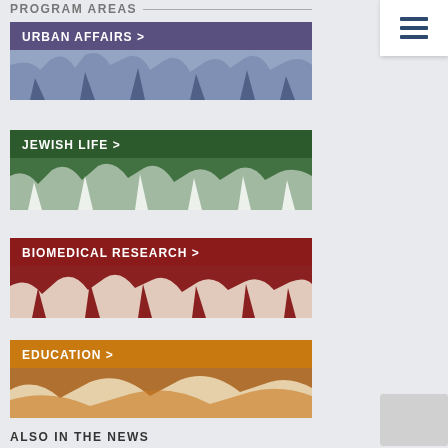PROGRAM AREAS
URBAN AFFAIRS >
[Figure (illustration): Abstract art image with blue/grey shapes for Urban Affairs section]
JEWISH LIFE >
[Figure (illustration): Abstract art image with green and white shapes for Jewish Life section]
BIOMEDICAL RESEARCH >
[Figure (illustration): Abstract art image with red and cream shapes for Biomedical Research section]
EDUCATION >
[Figure (illustration): Abstract art image with orange and white shapes for Education section]
ALSO IN THE NEWS